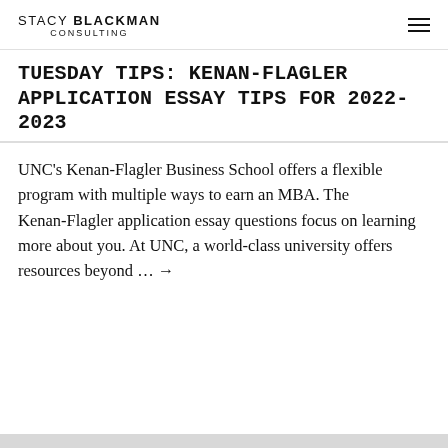STACY BLACKMAN CONSULTING
TUESDAY TIPS: KENAN-FLAGLER APPLICATION ESSAY TIPS FOR 2022-2023
UNC’s Kenan-Flagler Business School offers a flexible program with multiple ways to earn an MBA. The Kenan-Flagler application essay questions focus on learning more about you. At UNC, a world-class university offers resources beyond … →